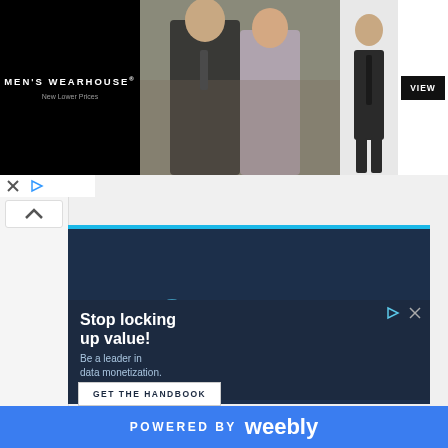[Figure (screenshot): Men's Wearhouse banner advertisement showing a couple in formal wear and a man in a suit, with VIEW button]
[Figure (logo): Leapyear advertisement with logo on dark navy background with cyan top border]
[Figure (screenshot): Stop locking up value! Be a leader in data monetization. GET THE HANDBOOK button — Leapyear ad]
POWERED BY weebly